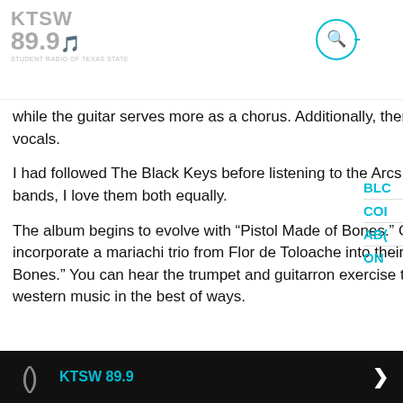KTSW 89.9
while the guitar serves more as a chorus. Additionally, ther nothing that can beat Dan Auerbach's bluesy raspy voice o vocals.
I had followed The Black Keys before listening to the Arcs, while I didn't realize that it was Dan Auerbach on vocals fo bands, I love them both equally.
The album begins to evolve with “Pistol Made of Bones.” O the most interesting things about the band is that they incorporate a mariachi trio from Flor de Toloache into their music; the trio’s input can be especially heard in “Pistol Ma Bones.” You can hear the trumpet and guitarron exercise th melodies making the song unique, almost emulating spagl western music in the best of ways.
KTSW 89.9